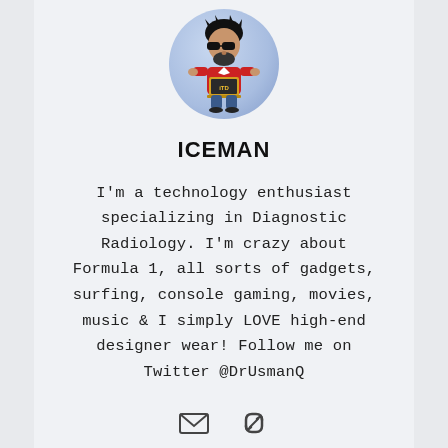[Figure (illustration): Cartoon avatar of a person with black hair and beard, wearing sunglasses and a red shirt, holding a laptop with 'ITD' logo. Shown in a circular frame with a light blue gradient background.]
ICEMAN
I'm a technology enthusiast specializing in Diagnostic Radiology. I'm crazy about Formula 1, all sorts of gadgets, surfing, console gaming, movies, music & I simply LOVE high-end designer wear! Follow me on Twitter @DrUsmanQ
[Figure (illustration): Email envelope icon and a link/chain icon side by side]